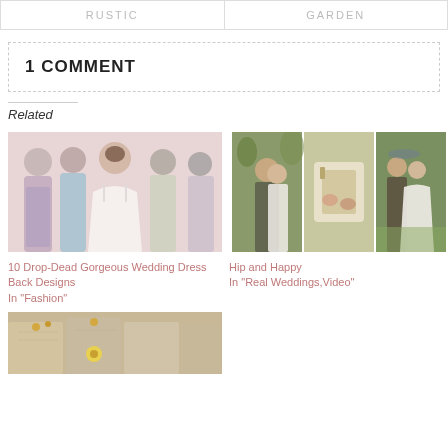| RUSTIC | GARDEN |
| --- | --- |
1 COMMENT
Related
[Figure (photo): Five women in elegant backless wedding dresses viewed from behind, showing intricate back details]
10 Drop-Dead Gorgeous Wedding Dress Back Designs
In "Fashion"
[Figure (photo): Three panel photo collage: couple embracing outdoors, hands holding box, bride and groom walking in field]
Hip and Happy
In "Real Weddings,Video"
[Figure (photo): Bridesmaids in champagne/nude dresses holding flowers, partial view at bottom of page]